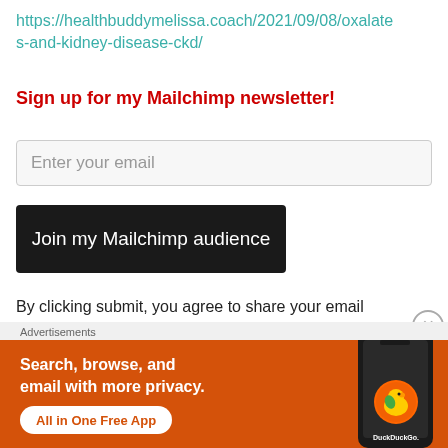https://healthbuddymelissa.coach/2021/09/08/oxalates-and-kidney-disease-ckd/
Sign up for my Mailchimp newsletter!
Enter your email
Join my Mailchimp audience
By clicking submit, you agree to share your email address with the site owner and Mailchimp to receive marketing, updates, and other emails from the site
Advertisements
[Figure (screenshot): DuckDuckGo advertisement banner with orange background showing 'Search, browse, and email with more privacy. All in One Free App' with DuckDuckGo logo and phone image]